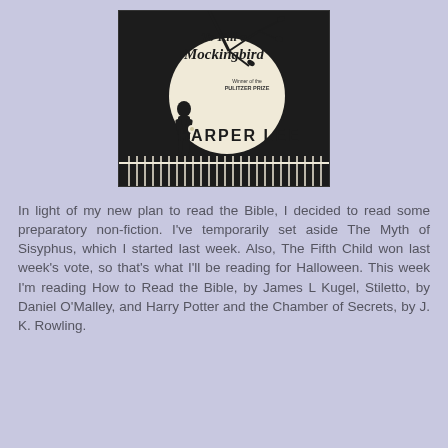[Figure (illustration): Book cover of 'To Kill a Mockingbird' by Harper Lee. Features a child silhouette against a large moon with tree branches, text 'Winner of the PULITZER PRIZE', and author name 'HARPER LEE' in bold. Dark background with a picket fence at the bottom.]
In light of my new plan to read the Bible, I decided to read some preparatory non-fiction. I've temporarily set aside The Myth of Sisyphus, which I started last week. Also, The Fifth Child won last week's vote, so that's what I'll be reading for Halloween. This week I'm reading How to Read the Bible, by James L Kugel, Stiletto, by Daniel O'Malley, and Harry Potter and the Chamber of Secrets, by J. K. Rowling.